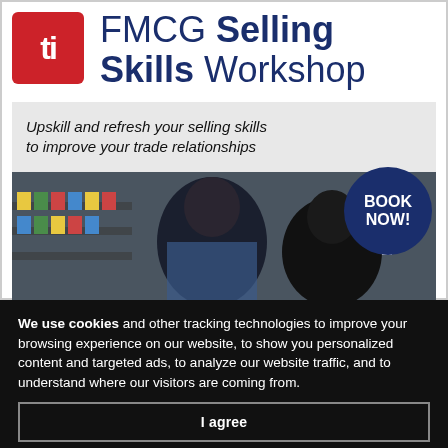[Figure (logo): Red rounded square logo with white 'ti' letters]
FMCG Selling Skills Workshop
Upskill and refresh your selling skills to improve your trade relationships
[Figure (photo): Two people in a retail store looking at products on shelves, with a 'BOOK NOW!' circle overlay]
We use cookies and other tracking technologies to improve your browsing experience on our website, to show you personalized content and targeted ads, to analyze our website traffic, and to understand where our visitors are coming from.
I agree
I decline